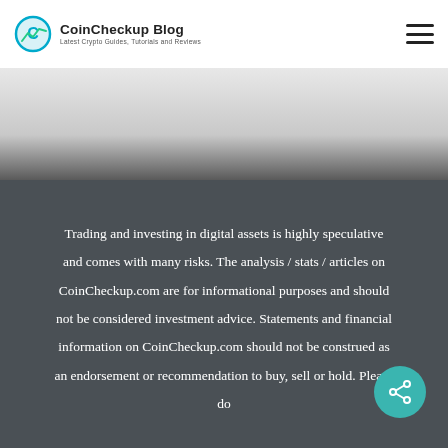CoinCheckup Blog — Latest Crypto Guides, Tutorials and Reviews
Trading and investing in digital assets is highly speculative and comes with many risks. The analysis / stats / articles on CoinCheckup.com are for informational purposes and should not be considered investment advice. Statements and financial information on CoinCheckup.com should not be construed as an endorsement or recommendation to buy, sell or hold. Please do